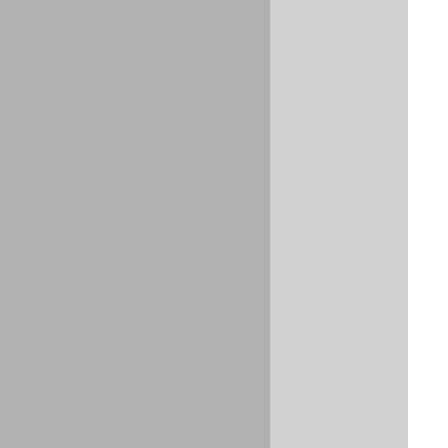integration of new technologies into the classroom affects students in varying degrees (Kagima and Hausrath 2000) . Business majors, in particular, may be more confident of computer self-efficacy than other students because computer use may be more consistently required in their programs (Karsten and Roth 1998) .
The Role of Training Contributes to Task C...
Self-efficacy has been shown to evolve through training (Hopper, Daniels, George-Falvy and Janvrin 1998) . CSE application has consistently shown a strong training effect (Eastin and LaRose 2000) . Training has a positive relationship to performance, which may increase CSE (Compeau, Olfman, Sein and Webster 1995) . CSE has consistently shown a positive relationship between training and self-efficacy (Karsten and Roth 1998) . Although some attitudes about computers may be of equal importance to computer self-efficacy than actual computer experience (Torkzadeh and Van Dyke 2002) , more research on the contribution to CSE by training experience is needed.
The Importance of Task, Task Challenge, a...
As noted earlier, a relatively small proportion address the theoretical role of task is explicit or implicit; "people who think they will do well on a task do better" but those who don't (Gist and Mitchell 1992) . The importance for computer tasks has been clearly demonstrated in professional environments. Self-efficacy systems at a number of levels, particularly...